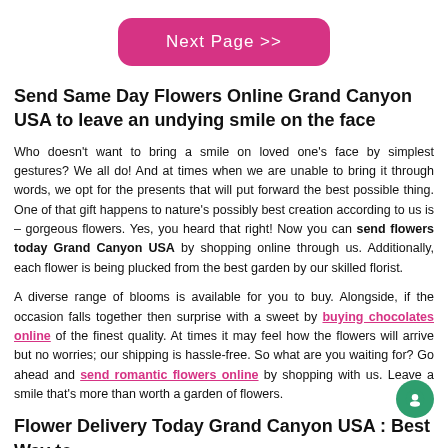[Figure (other): Pink rounded rectangle button with white text reading 'Next Page >>']
Send Same Day Flowers Online Grand Canyon USA to leave an undying smile on the face
Who doesn't want to bring a smile on loved one's face by simplest gestures? We all do! And at times when we are unable to bring it through words, we opt for the presents that will put forward the best possible thing. One of that gift happens to nature's possibly best creation according to us is – gorgeous flowers. Yes, you heard that right! Now you can send flowers today Grand Canyon USA by shopping online through us. Additionally, each flower is being plucked from the best garden by our skilled florist.
A diverse range of blooms is available for you to buy. Alongside, if the occasion falls together then surprise with a sweet by buying chocolates online of the finest quality. At times it may feel how the flowers will arrive but no worries; our shipping is hassle-free. So what are you waiting for? Go ahead and send romantic flowers online by shopping with us. Leave a smile that's more than worth a garden of flowers.
Flower Delivery Today Grand Canyon USA : Best Way to